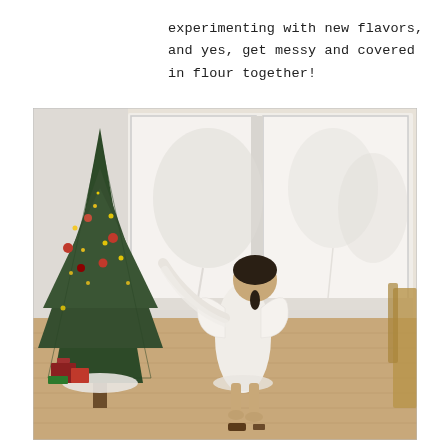experimenting with new flavors, and yes, get messy and covered in flour together!
[Figure (photo): A young girl dressed in a white angel costume with wings, barefoot, reaching up to decorate a Christmas tree. She is photographed from behind in a bright room with large windows showing a wintry outdoor scene. Wood floor, gifts under the tree.]